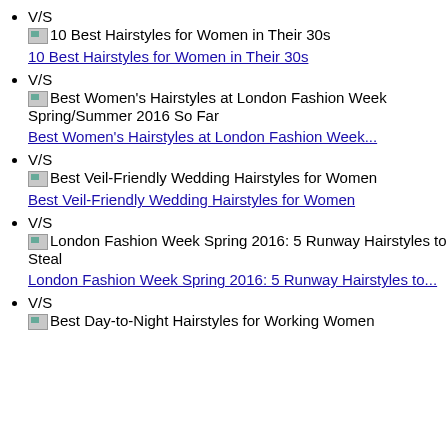V/S
[img]10 Best Hairstyles for Women in Their 30s
10 Best Hairstyles for Women in Their 30s
V/S
[img]Best Women's Hairstyles at London Fashion Week Spring/Summer 2016 So Far
Best Women's Hairstyles at London Fashion Week...
V/S
[img]Best Veil-Friendly Wedding Hairstyles for Women
Best Veil-Friendly Wedding Hairstyles for Women
V/S
[img]London Fashion Week Spring 2016: 5 Runway Hairstyles to Steal
London Fashion Week Spring 2016: 5 Runway Hairstyles to...
V/S
[img]Best Day-to-Night Hairstyles for Working Women